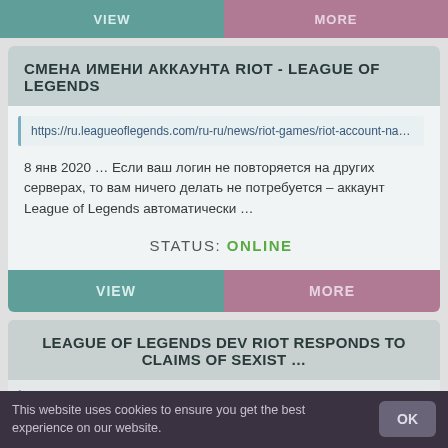VIEW
MORE
СМЕНА ИМЕНИ АККАУНТА RIOT - LEAGUE OF LEGENDS
https://ru.leagueoflegends.com/ru-ru/news/riot-games/riot-account-name-cha…
8 янв 2020 … Если ваш логин не повторяется на других серверах, то вам ничего делать не потребуется – аккаунт League of Legends автоматически …
STATUS: ONLINE
VIEW
MORE
LEAGUE OF LEGENDS DEV RIOT RESPONDS TO CLAIMS OF SEXIST …
https://www.gamespot.com/articles/league-of-legends-dev-riot-responds-to-c
This website uses cookies to ensure you get the best experience on our website.
OK